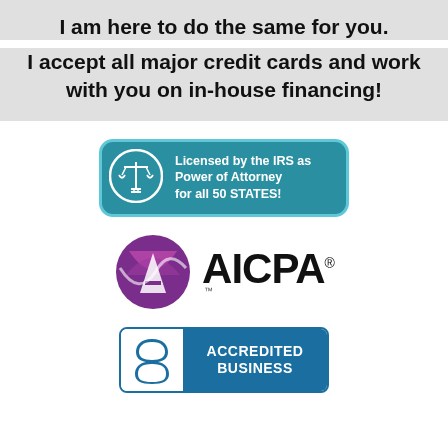I am here to do the same for you.
I accept all major credit cards and work with you on in-house financing!
[Figure (logo): Teal rounded badge with scales of justice icon and text: Licensed by the IRS as Power of Attorney for all 50 STATES!]
[Figure (logo): AICPA logo with purple globe/sphere icon and bold AICPA text with trademark symbol]
[Figure (logo): BBB Accredited Business badge with teal background and BBB icon]